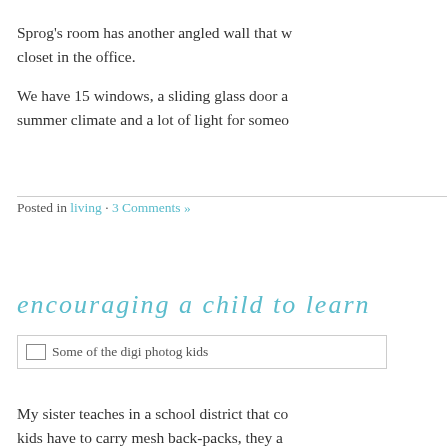Sprog's room has another angled wall that w… closet in the office.
We have 15 windows, a sliding glass door a… summer climate and a lot of light for someo…
Posted in living · 3 Comments »
encouraging a child to learn
[Figure (photo): Image placeholder: Some of the digi photog kids]
My sister teaches in a school district that co… kids have to carry mesh back-packs, they a… complementary breakfast and .10 lunches b… Sometimes there are far greater disadvanta… bad apples as well.